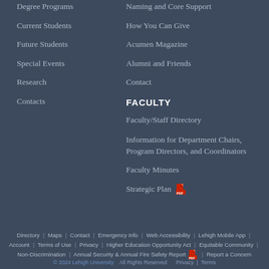Degree Programs
Current Students
Future Students
Special Events
Research
Contacts
Naming and Core Support
How You Can Give
Acumen Magazine
Alumni and Friends
Contact
FACULTY
Faculty/Staff Directory
Information for Department Chairs, Program Directors, and Coordinators
Faculty Minutes
Strategic Plan
Directory | Maps | Contact | Emergency Info | Web Accessibility | Lehigh Mobile App | Account | Terms of Use | Privacy | Higher Education Opportunity Act | Equitable Community | Non-Discrimination | Annual Security & Annual Fire Safety Report | Report a Concern
© 2024 Lehigh University   All Rights Reserved     Privacy   Terms